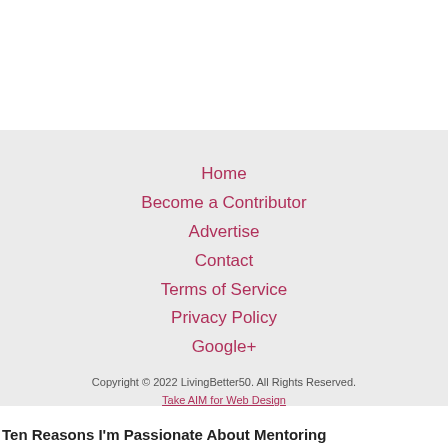Home
Become a Contributor
Advertise
Contact
Terms of Service
Privacy Policy
Google+
Copyright © 2022 LivingBetter50. All Rights Reserved.
Take AIM for Web Design
Ten Reasons I'm Passionate About Mentoring